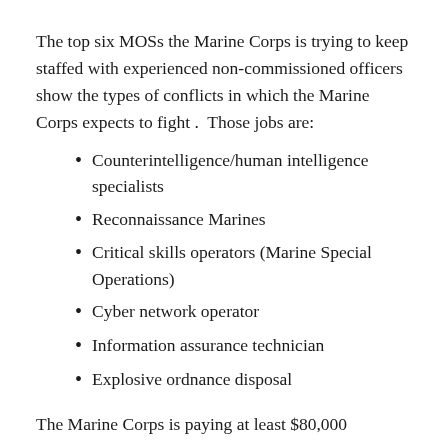The top six MOSs the Marine Corps is trying to keep staffed with experienced non-commissioned officers show the types of conflicts in which the Marine Corps expects to fight .  Those jobs are:
Counterintelligence/human intelligence specialists
Reconnaissance Marines
Critical skills operators (Marine Special Operations)
Cyber network operator
Information assurance technician
Explosive ordnance disposal
The Marine Corps is paying at least $80,000